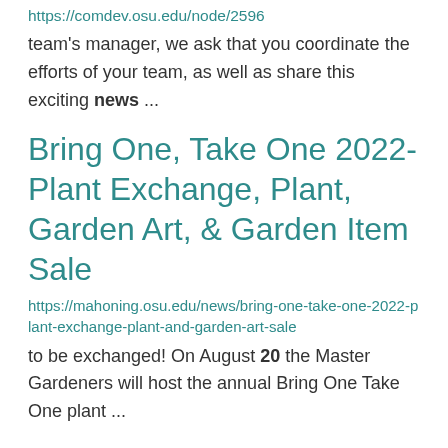https://comdev.osu.edu/node/2596
team's manager, we ask that you coordinate the efforts of your team, as well as share this exciting news ...
Bring One, Take One 2022- Plant Exchange, Plant, Garden Art, & Garden Item Sale
https://mahoning.osu.edu/news/bring-one-take-one-2022-plant-exchange-plant-and-garden-art-sale
to be exchanged! On August 20 the Master Gardeners will host the annual Bring One Take One plant ...
2022 Garden Art Spring...